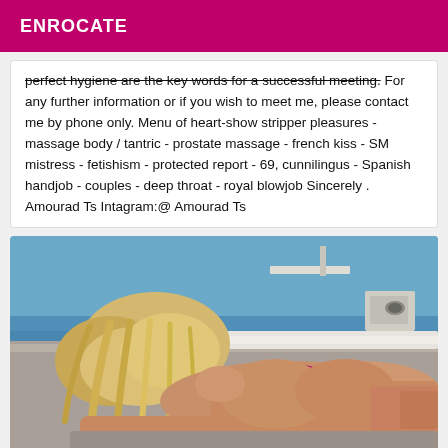ENROCATE
perfect hygiene are the key words for a successful meeting. For any further information or if you wish to meet me, please contact me by phone only. Menu of heart-show stripper pleasures - massage body / tantric - prostate massage - french kiss - SM mistress - fetishism - protected report - 69, cunnilingus - Spanish handjob - couples - deep throat - royal blowjob Sincerely . Amourad Ts Intagram:@ Amourad Ts
[Figure (photo): Photo of a blonde woman in a pink/magenta bikini lying on a boat deck, viewed from behind, with the sea in the background.]